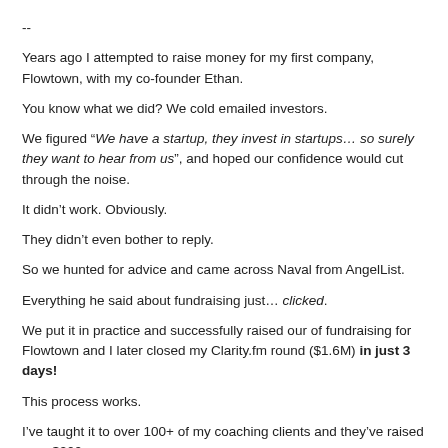--
Years ago I attempted to raise money for my first company, Flowtown, with my co-founder Ethan.
You know what we did? We cold emailed investors.
We figured “We have a startup, they invest in startups… so surely they want to hear from us”, and hoped our confidence would cut through the noise.
It didn’t work. Obviously.
They didn’t even bother to reply.
So we hunted for advice and came across Naval from AngelList.
Everything he said about fundraising just… clicked.
We put it in practice and successfully raised our of fundraising for Flowtown and I later closed my Clarity.fm round ($1.6M) in just 3 days!
This process works.
I’ve taught it to over 100+ of my coaching clients and they’ve raised over $200